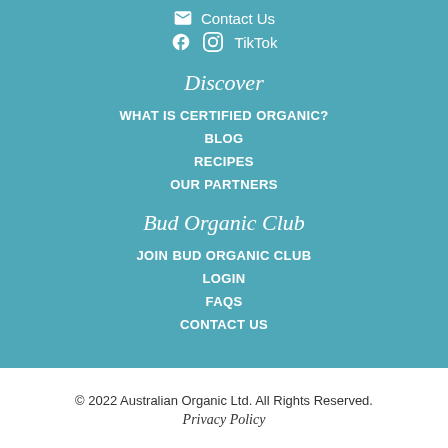Contact Us
Facebook  Instagram  TikTok
Discover
WHAT IS CERTIFIED ORGANIC?
BLOG
RECIPES
OUR PARTNERS
Bud Organic Club
JOIN BUD ORGANIC CLUB
LOGIN
FAQS
CONTACT US
© 2022 Australian Organic Ltd. All Rights Reserved.
Privacy Policy